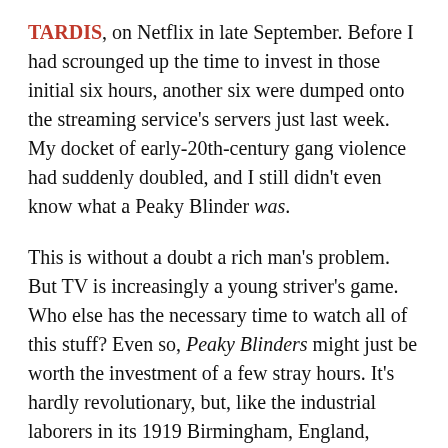TARDIS, on Netflix in late September. Before I had scrounged up the time to invest in those initial six hours, another six were dumped onto the streaming service's servers just last week. My docket of early-20th-century gang violence had suddenly doubled, and I still didn't even know what a Peaky Blinder was.
This is without a doubt a rich man's problem. But TV is increasingly a young striver's game. Who else has the necessary time to watch all of this stuff? Even so, Peaky Blinders might just be worth the investment of a few stray hours. It's hardly revolutionary, but, like the industrial laborers in its 1919 Birmingham, England, setting, it gets the job done. I found Peaky to be a rare example of Netflix's binge strategy paying off in a major way: With one episode flowing into another like the River Trent, it's hard to resist being swept away. Peaky Blinders is the sort of series that